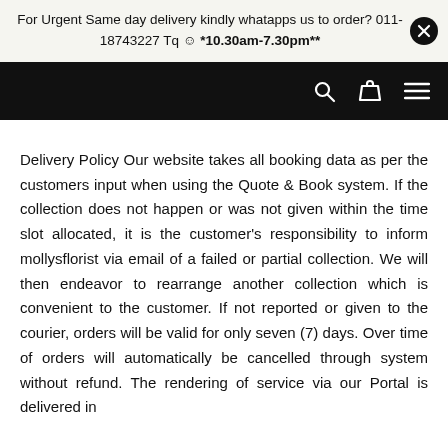For Urgent Same day delivery kindly whatapps us to order? 011-18743227 Tq ☺ *10.30am-7.30pm**
Delivery Policy Our website takes all booking data as per the customers input when using the Quote & Book system. If the collection does not happen or was not given within the time slot allocated, it is the customer's responsibility to inform mollysflorist via email of a failed or partial collection. We will then endeavor to rearrange another collection which is convenient to the customer. If not reported or given to the courier, orders will be valid for only seven (7) days. Over time of orders will automatically be cancelled through system without refund. The rendering of service via our Portal is delivered in